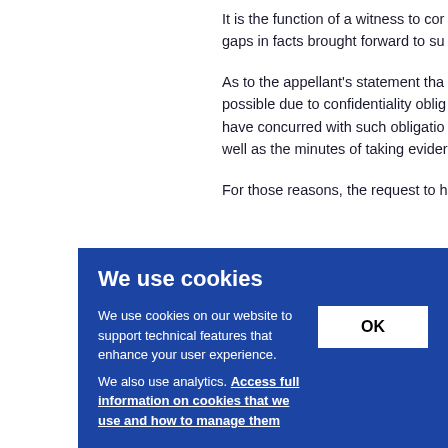It is the function of a witness to cor gaps in facts brought forward to su
As to the appellant's statement tha possible due to confidentiality oblig have concurred with such obligatio well as the minutes of taking evider
For those reasons, the request to h
e relie acco
a forti roduc
d duri E1-E
[Figure (other): Cookie consent banner overlay with blue background. Title: 'We use cookies'. Body text: 'We use cookies on our website to support technical features that enhance your user experience. We also use analytics. Access full information on cookies that we use and how to manage them'. OK button on the right.]